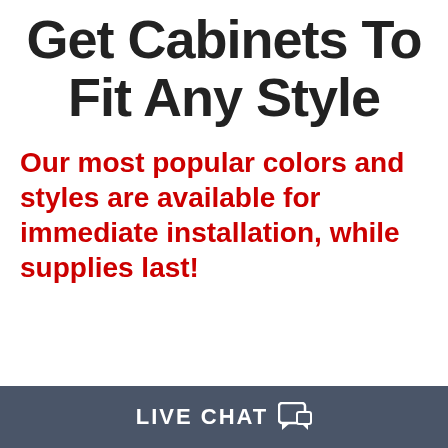Get Cabinets To Fit Any Style
Our most popular colors and styles are available for immediate installation, while supplies last!
LIVE CHAT